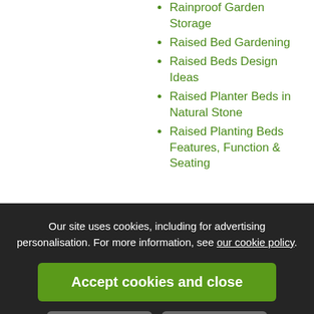Rainproof Garden Storage
Raised Bed Gardening
Raised Beds Design Ideas
Raised Planter Beds in Natural Stone
Raised Planting Beds Features, Function & Seating
Our site uses cookies, including for advertising personalisation. For more information, see our cookie policy.
Accept cookies and close
Reject cookies
Manage settings